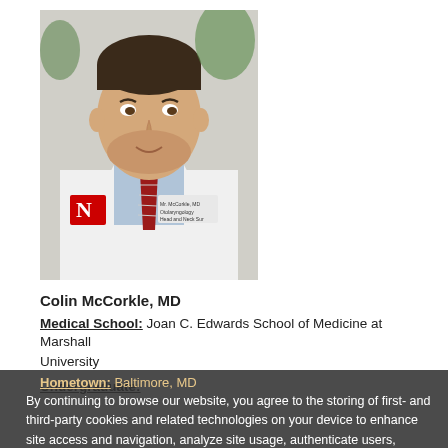[Figure (photo): Professional headshot of Colin McCorkle, MD, wearing a white coat and red striped tie with a University of Nebraska logo on the coat.]
Colin McCorkle, MD
Medical School: Joan C. Edwards School of Medicine at Marshall University
Undergraduate:
Hometown: Baltimore, MD
Hobbies/Interests: traveling, skiing, working out, cycling, biking, camping, crime podcasts
By continuing to browse our website, you agree to the storing of first- and third-party cookies and related technologies on your device to enhance site access and navigation, analyze site usage, authenticate users, facilitate transactions, and assist in our marketing efforts. Please read our privacy notice to learn more.